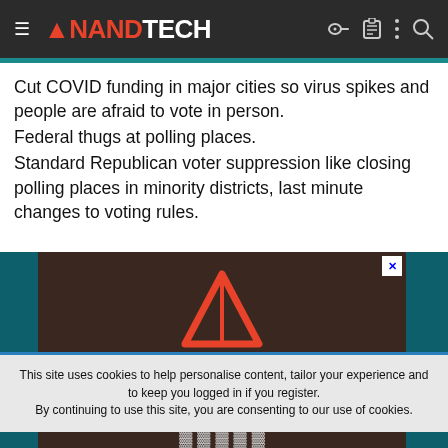AnandTech
Cut COVID funding in major cities so virus spikes and people are afraid to vote in person.
Federal thugs at polling places.
Standard Republican voter suppression like closing polling places in minority districts, last minute changes to voting rules.
[Figure (photo): Ampere advertisement with logo (red triangle above 'AMPERE.' text) and tagline 'Hear Why Major' on dark brown/teal background]
This site uses cookies to help personalise content, tailor your experience and to keep you logged in if you register.
By continuing to use this site, you are consenting to our use of cookies.